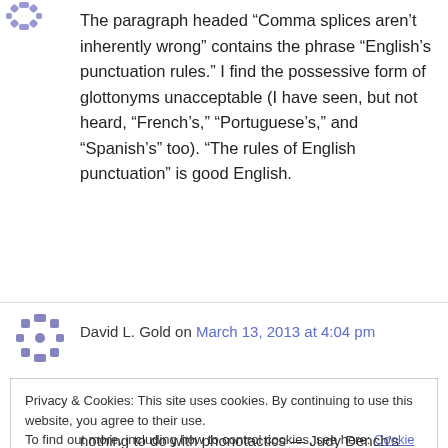[Figure (illustration): Small purple avatar icon (asterisk/snowflake style) in top left]
The paragraph headed “Comma splices aren’t inherently wrong” contains the phrase “English’s punctuation rules.” I find the possessive form of glottonyms unacceptable (I have seen, but not heard, “French’s,” “Portuguese’s,” and “Spanish’s” too). “The rules of English punctuation” is good English.
[Figure (illustration): Purple avatar icon (grid/cross style) for David L. Gold]
David L. Gold on March 13, 2013 at 4:04 pm
Privacy & Cookies: This site uses cookies. By continuing to use this website, you agree to their use.
To find out more, including how to control cookies, see here: Cookie Policy
Close and accept
nothing to do with phonotactics — Judy Dench’s